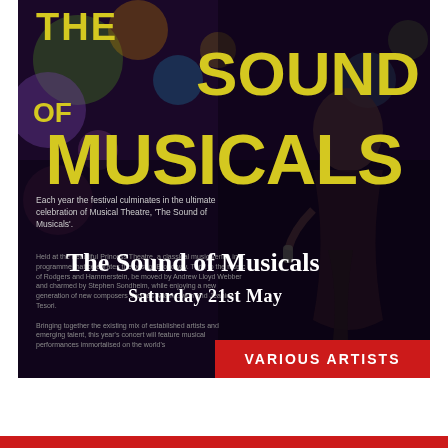[Figure (photo): Event poster for 'The Sound of Musicals' featuring large yellow bold title text on a dark purple/bokeh background with a performer holding a microphone on the right side]
The Sound of Musicals
Each year the festival culminates in the ultimate celebration of Musical Theatre, 'The Sound of Musicals'.
Held at the beautiful Princess Theatre, a classical music venue in a programme that celebrates the best of Broadway. Thrill to the music of Rodgers and Hammerstein, be moved by Andrew Lloyd Webber and charmed by Stephen Sondheim, while enjoying a new generation of new composers such as Adam Gwon and Jeanine Tesori. Bringing together the existing mix of established artists and emerging talent, this year's concert will feature musical performances immortalised on the world's
Saturday 21st May
VARIOUS ARTISTS